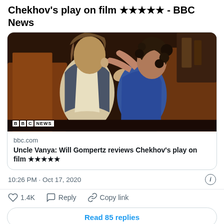Chekhov's play on film ★★★★★ - BBC News
[Figure (screenshot): Card preview with BBC News photo of two actors in an embrace from the play Uncle Vanya, with BBC News logo overlay]
bbc.com
Uncle Vanya: Will Gompertz reviews Chekhov's play on film ★★★★★
10:26 PM · Oct 17, 2020
1.4K  Reply  Copy link
Read 85 replies